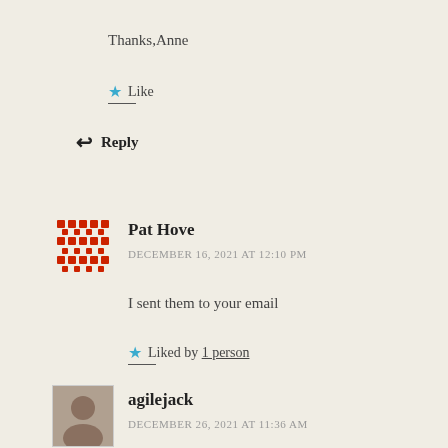Thanks,Anne
Like
Reply
Pat Hove
DECEMBER 16, 2021 AT 12:10 PM
I sent them to your email
Liked by 1 person
agilejack
DECEMBER 26, 2021 AT 11:36 AM